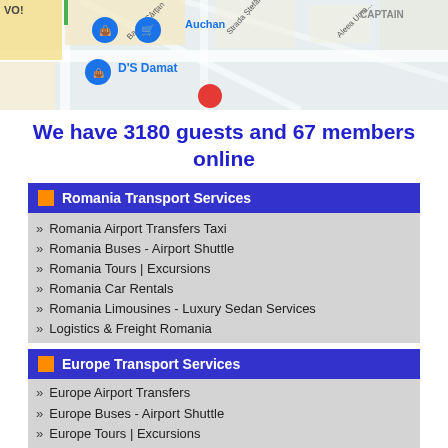[Figure (map): Google Maps screenshot showing Auchan, D'S Damat store locations with map pins, streets including Strada Ștefăniță Vodă, Aleea Uma..., CAPTAIN label visible]
We have 3180 guests and 67 members online
Romania Transport Services
Romania Airport Transfers Taxi
Romania Buses - Airport Shuttle
Romania Tours | Excursions
Romania Car Rentals
Romania Limousines - Luxury Sedan Services
Logistics & Freight Romania
Europe Transport Services
Europe Airport Transfers
Europe Buses - Airport Shuttle
Europe Tours | Excursions
Europe Limousines - VTC
Europe Car Rentals